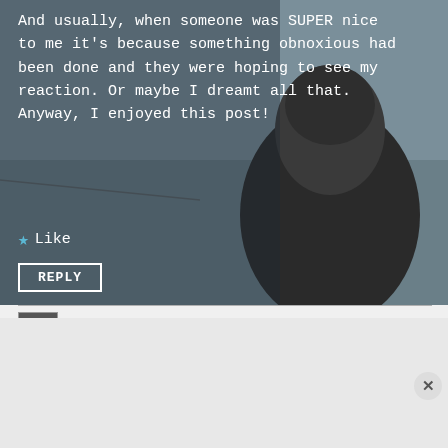And usually, when someone was SUPER nice to me it's because something obnoxious had been done and they were hoping to see my reaction. Or maybe I dreamt all that. Anyway, I enjoyed this post!
★ Like
REPLY
glasgowdragonfly ▲
August 17, 2014 at 7:08 am
[Figure (screenshot): DuckDuckGo advertisement banner with orange background. Text reads: Search, browse, and email with more privacy. All in One Free App. Shows a phone with DuckDuckGo app.]
Advertisement(?)